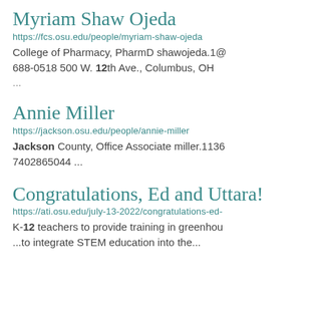Myriam Shaw Ojeda
https://fcs.osu.edu/people/myriam-shaw-ojeda
College of Pharmacy, PharmD shawojeda.1@
688-0518 500 W. 12th Ave., Columbus, OH
...
Annie Miller
https://jackson.osu.edu/people/annie-miller
Jackson County, Office Associate miller.1136
7402865044 ...
Congratulations, Ed and Uttara!
https://ati.osu.edu/july-13-2022/congratulations-ed-
K-12 teachers to provide training in greenhou
...to integrate STEM education into the...